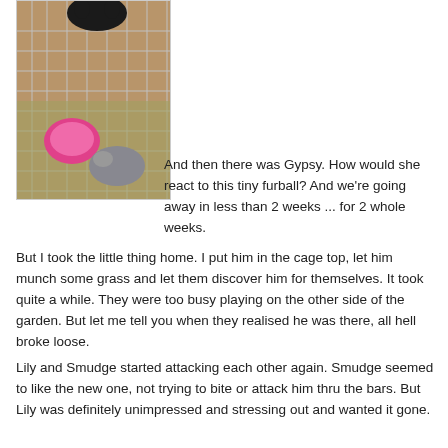[Figure (photo): A wire cage from above with a cat (black, top) and a guinea pig or small animal below, with a pink bowl/dish inside the cage, on a wooden floor background.]
And then there was Gypsy. How would she react to this tiny furball? And we're going away in less than 2 weeks ... for 2 whole weeks.
But I took the little thing home. I put him in the cage top, let him munch some grass and let them discover him for themselves. It took quite a while. They were too busy playing on the other side of the garden. But let me tell you when they realised he was there, all hell broke loose.
Lily and Smudge started attacking each other again. Smudge seemed to like the new one, not trying to bite or attack him thru the bars. But Lily was definitely unimpressed and stressing out and wanted it gone.